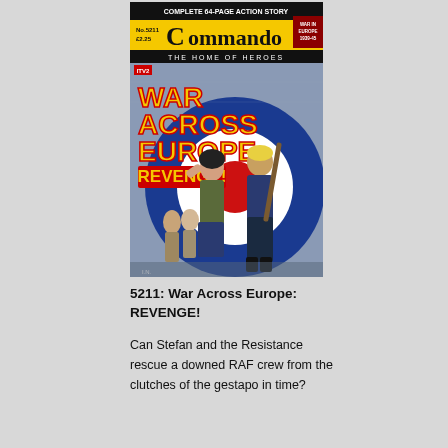[Figure (illustration): Cover of Commando comic book No.5211, priced £2.25, titled 'War Across Europe: REVENGE!' showing two main characters (a dark-haired woman and a blonde man with a rifle) against a blue RAF roundel target symbol background, with additional figures in the background. Header reads 'THE HOME OF HEROES' and there is a 'WAR IN EUROPE 1939-45' badge in the top right.]
5211: War Across Europe: REVENGE!
Can Stefan and the Resistance rescue a downed RAF crew from the clutches of the gestapo in time?